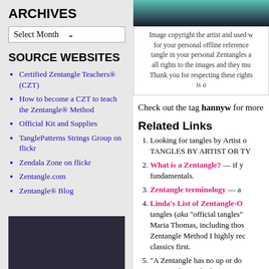ARCHIVES
Select Month
SOURCE WEBSITES
Certified Zentangle Teachers® (CZT)
How to become a CZT to teach the Zentangle® Method
Official Kit and Supplies
TanglePatterns Strings Group on flickr
Zendala Zone on flickr
Zentangle.com
Zentangle® Blog
[Figure (photo): Dark colored image at bottom left of left column]
[Figure (photo): Top image on right column showing teal/dark gradient artwork]
Image copyright the artist and used with permission for your personal offline reference only. You may tangle in your personal Zentangles and sketchbooks. all rights to the images and they must not be used. Thank you for respecting these rights. is o
Check out the tag hannyw for more
Related Links
Looking for tangles by Artist or Type? TANGLES BY ARTIST OR TY
What is a Zentangle? — if y fundamentals.
Zentangle terminology — a
Linda's List of Zentangle-O tangles (aka "official tangles" Maria Thomas, including thos Zentangle Method I highly rec classics first.
"A Zentangle has no up or do worries about whether you ca creating a Zentangle." Thus p or actual object, figure, or sce — here's what makes a tangl
Un motif n'est pas to
Un diseño no es siem